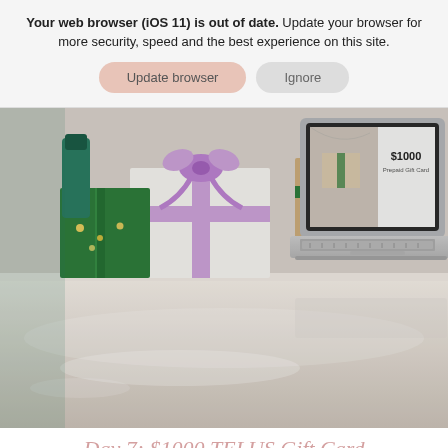Your web browser (iOS 11) is out of date. Update your browser for more security, speed and the best experience on this site.
Update browser | Ignore
[Figure (photo): A laptop on a white desk displaying a $1000 Prepaid Gift Card on screen, surrounded by gift-wrapped packages with green and lavender ribbons and string lights.]
Day 7: $1000 TELUS Gift Card